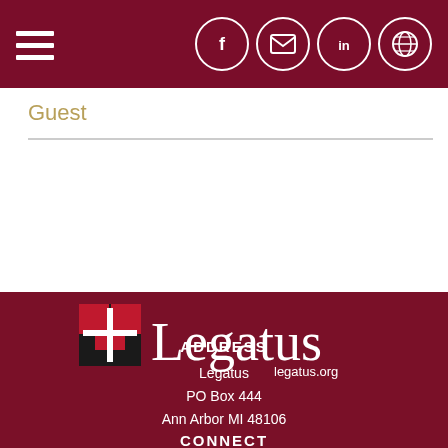Navigation bar with hamburger menu and social icons (Facebook, Email, LinkedIn, Globe)
Guest
[Figure (logo): Legatus logo with cross icon and text 'Legatus legatus.org' on dark red background]
ADDRESS
Legatus
PO Box 444
Ann Arbor MI 48106
CONNECT